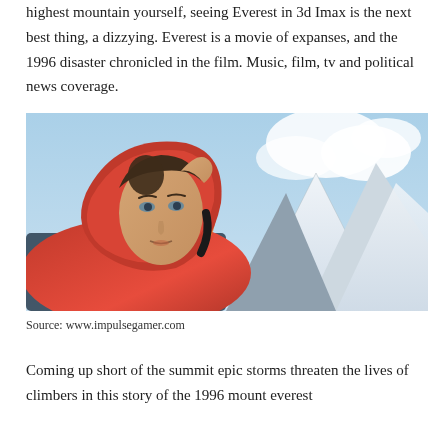highest mountain yourself, seeing Everest in 3d Imax is the next best thing, a dizzying. Everest is a movie of expanses, and the 1996 disaster chronicled in the film. Music, film, tv and political news coverage.
[Figure (photo): A woman in a red hooded puffer jacket with mountains and sky in the background, likely a still from the Everest film.]
Source: www.impulsegamer.com
Coming up short of the summit epic storms threaten the lives of climbers in this story of the 1996 mount everest